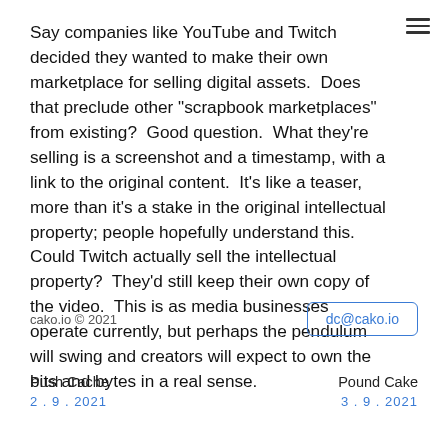Say companies like YouTube and Twitch decided they wanted to make their own marketplace for selling digital assets.  Does that preclude other "scrapbook marketplaces" from existing?  Good question.  What they're selling is a screenshot and a timestamp, with a link to the original content.  It's like a teaser, more than it's a stake in the original intellectual property; people hopefully understand this.  Could Twitch actually sell the intellectual property?  They'd still keep their own copy of the video.  This is as media businesses operate currently, but perhaps the pendulum will swing and creators will expect to own the bits and bytes in a real sense.
cako.io © 2021
dc@cako.io
Push Cache
2 . 9 . 2021
Pound Cake
3 . 9 . 2021